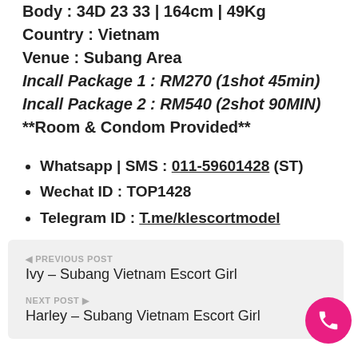Body : 34D 23 33 | 164cm | 49Kg
Country : Vietnam
Venue : Subang Area
Incall Package 1 : RM270 (1shot 45min)
Incall Package 2 : RM540 (2shot 90MIN)
**Room & Condom Provided**
Whatsapp | SMS : 011-59601428 (ST)
Wechat ID : TOP1428
Telegram ID : T.me/klescortmodel
PREVIOUS POST
Ivy – Subang Vietnam Escort Girl
NEXT POST
Harley – Subang Vietnam Escort Girl